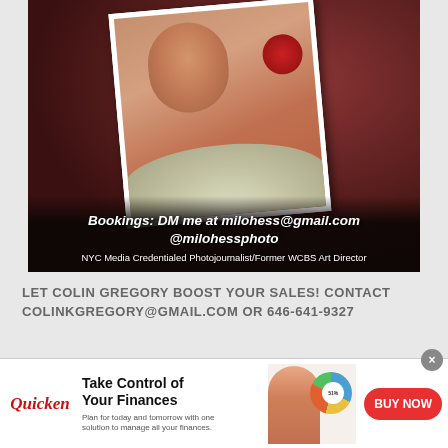[Figure (photo): Social media post showing a smiling woman wearing a white fur collar and pink outfit, with a photo print displayed. Background is dark red/bokeh.]
Bookings: DM me at milohess@gmail.com @milohessphoto
NYC Media Credentialed Photojournalist/Former WCBS Art Director
LET COLIN GREGORY BOOST YOUR SALES! CONTACT COLINKGREGORY@GMAIL.COM OR 646-641-9327
[Figure (other): Quicken banner advertisement: Take Control of Your Finances. Plan for today and tomorrow with one solution to manage all your finances. BUY NOW button. Shows woman working at laptop with pie chart graphic.]